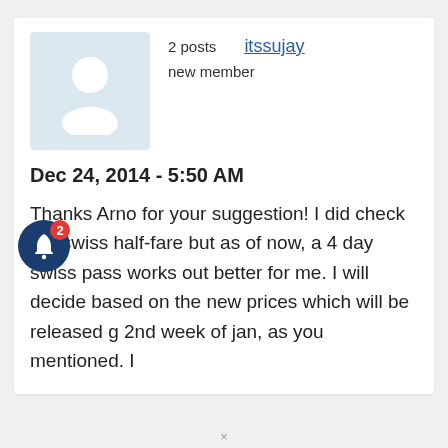[Figure (illustration): Generic user avatar placeholder: light blue-grey square with a white silhouette of a person (head circle and shoulders)]
2 posts
itssujay
new member
Dec 24, 2014 - 5:50 AM
Thanks Arno for your suggestion! I did check the swiss half-fare but as of now, a 4 day swiss pass works out better for me. I will decide based on the new prices which will be released g 2nd week of jan, as you mentioned. I